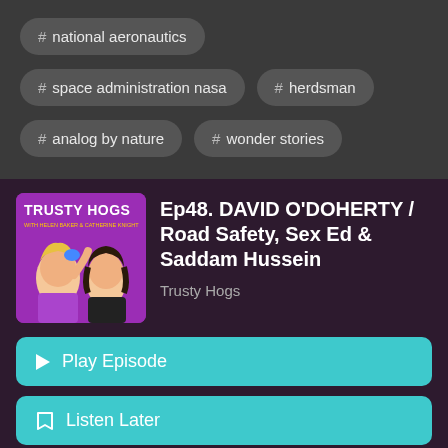# national aeronautics
# space administration nasa
# herdsman
# analog by nature
# wonder stories
Ep48. DAVID O'DOHERTY / Road Safety, Sex Ed & Saddam Hussein
Trusty Hogs
Play Episode
Listen Later
Sep 1, 2022
55:40